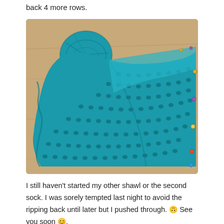back 4 more rows.
[Figure (photo): A teal/turquoise knitted shawl in progress laid out on a wooden surface, with a ball of teal yarn in the upper left area. The shawl shows a lace or waffle knitting pattern and has stitch markers along its edges.]
I still haven't started my other shawl or the second sock. I was sorely tempted last night to avoid the ripping back until later but I pushed through. 🙃 See you soon 😊.